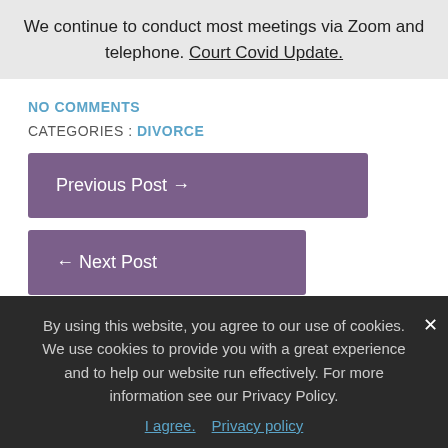We continue to conduct most meetings via Zoom and telephone. Court Covid Update.
NO COMMENTS
CATEGORIES : DIVORCE
Previous Post →
← Next Post
Leave a Reply
By using this website, you agree to our use of cookies. We use cookies to provide you with a great experience and to help our website run effectively. For more information see our Privacy Policy.
I agree.   Privacy policy